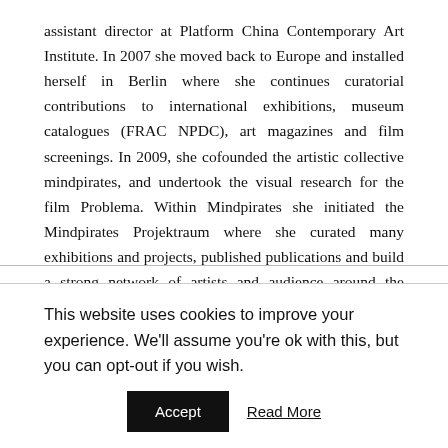assistant director at Platform China Contemporary Art Institute. In 2007 she moved back to Europe and installed herself in Berlin where she continues curatorial contributions to international exhibitions, museum catalogues (FRAC NPDC), art magazines and film screenings. In 2009, she cofounded the artistic collective mindpirates, and undertook the visual research for the film Problema. Within Mindpirates she initiated the Mindpirates Projektraum where she curated many exhibitions and projects, published publications and build a strong network of artists and audience around the mindpirates. Currently working as a freelance curator. Her latest project was “If You Are So Smart, Why Aint You Rich?”, official parallel project at the
This website uses cookies to improve your experience. We'll assume you're ok with this, but you can opt-out if you wish.